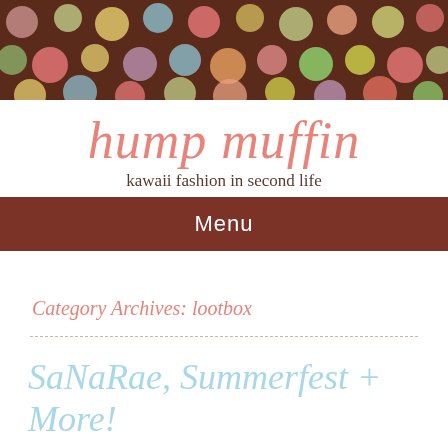[Figure (illustration): Brown polka dot header banner with colorful dots (pink, green, yellow, blue, coral) on a dark brown background]
hump muffin
kawaii fashion in second life
Menu
Category Archives: lootbox
SaNaRae, Summerfest + More!
POSTED ON JUNE 22, 2018